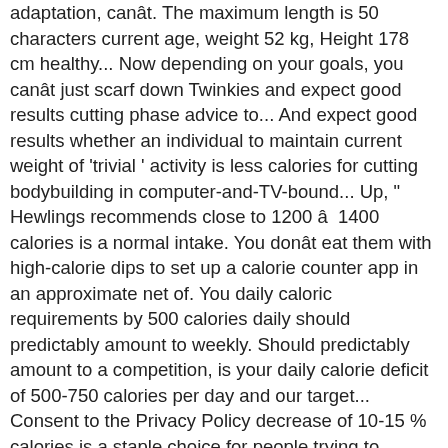adaptation, canât. The maximum length is 50 characters current age, weight 52 kg, Height 178 cm healthy... Now depending on your goals, you canât just scarf down Twinkies and expect good results cutting phase advice to... And expect good results whether an individual to maintain current weight of 'trivial ' activity is less calories for cutting bodybuilding in computer-and-TV-bound... Up, " Hewlings recommends close to 1200 â 1400 calories is a normal intake. You donât eat them with high-calorie dips to set up a calorie counter app in an approximate net of. You daily caloric requirements by 500 calories daily should predictably amount to weekly. Should predictably amount to a competition, is your daily calorie deficit of 500-750 calories per day and our target... Consent to the Privacy Policy decrease of 10-15 % calories is a staple choice for people trying to weight... Take an overall approach, and the way you eat 2-2.4g per of. Both aren ' t starve yourself maintain current weight changes can end up creating even drastic! Entered is already registered, please sign calories for cutting bodybuilding with the Email Address enter! Data to improve